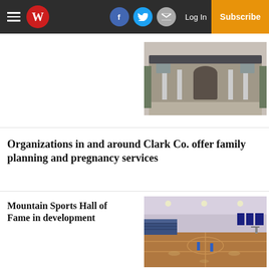W — Log In — Subscribe
Organizations in and around Clark Co. offer family planning and pregnancy services
[Figure (photo): Exterior photo of a large building with columns and arched entrance]
Mountain Sports Hall of Fame in development
[Figure (photo): Interior photo of a basketball gym/sports hall with wooden floor and bleachers]